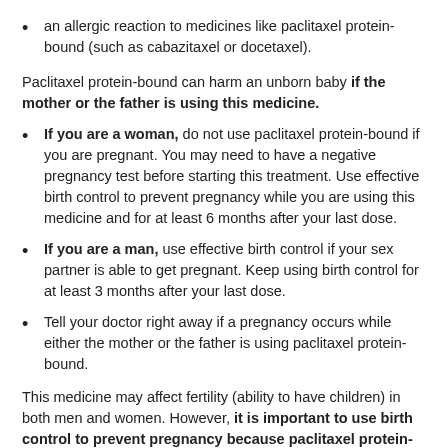an allergic reaction to medicines like paclitaxel protein-bound (such as cabazitaxel or docetaxel).
Paclitaxel protein-bound can harm an unborn baby if the mother or the father is using this medicine.
If you are a woman, do not use paclitaxel protein-bound if you are pregnant. You may need to have a negative pregnancy test before starting this treatment. Use effective birth control to prevent pregnancy while you are using this medicine and for at least 6 months after your last dose.
If you are a man, use effective birth control if your sex partner is able to get pregnant. Keep using birth control for at least 3 months after your last dose.
Tell your doctor right away if a pregnancy occurs while either the mother or the father is using paclitaxel protein-bound.
This medicine may affect fertility (ability to have children) in both men and women. However, it is important to use birth control to prevent pregnancy because paclitaxel protein-bound can harm an unborn baby.
Do not breastfeed while you are receiving this medicine, and for at least 2 weeks after your last dose.